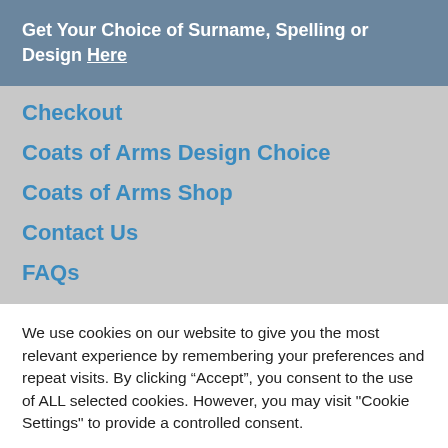Get Your Choice of Surname, Spelling or Design Here
Checkout
Coats of Arms Design Choice
Coats of Arms Shop
Contact Us
FAQs
We use cookies on our website to give you the most relevant experience by remembering your preferences and repeat visits. By clicking “Accept”, you consent to the use of ALL selected cookies. However, you may visit "Cookie Settings" to provide a controlled consent.